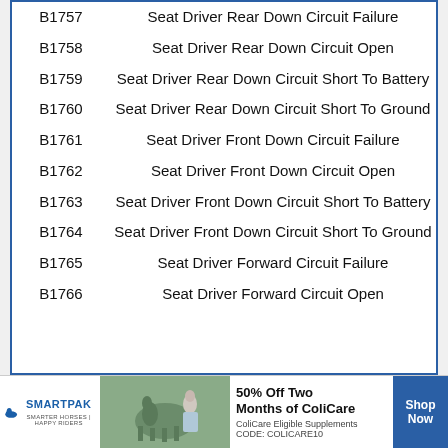| Code | Description |
| --- | --- |
| B1757 | Seat Driver Rear Down Circuit Failure |
| B1758 | Seat Driver Rear Down Circuit Open |
| B1759 | Seat Driver Rear Down Circuit Short To Battery |
| B1760 | Seat Driver Rear Down Circuit Short To Ground |
| B1761 | Seat Driver Front Down Circuit Failure |
| B1762 | Seat Driver Front Down Circuit Open |
| B1763 | Seat Driver Front Down Circuit Short To Battery |
| B1764 | Seat Driver Front Down Circuit Short To Ground |
| B1765 | Seat Driver Forward Circuit Failure |
| B1766 | Seat Driver Forward Circuit Open |
| B1767 | Seat Driver Forward Circuit Short To... |
[Figure (other): SmartPak advertisement banner: '50% Off Two Months of ColiCare, ColiCare Eligible Supplements, CODE: COLICARE10', with Shop Now button]